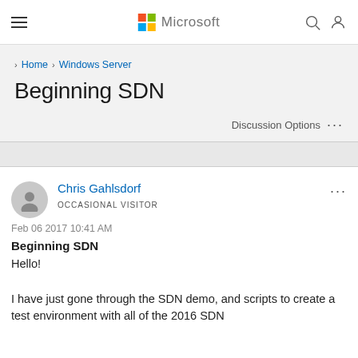Microsoft
Home › Windows Server
Beginning SDN
Discussion Options ...
Chris Gahlsdorf
OCCASIONAL VISITOR
Feb 06 2017 10:41 AM
Beginning SDN
Hello!
I have just gone through the SDN demo, and scripts to create a test environment with all of the 2016 SDN